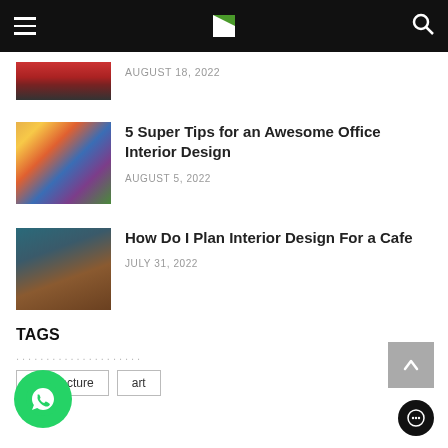Navigation bar with hamburger menu, logo, and search icon
AUGUST 18, 2022
5 Super Tips for an Awesome Office Interior Design
AUGUST 5, 2022
How Do I Plan Interior Design For a Cafe
JULY 31, 2022
TAGS
architecture
art